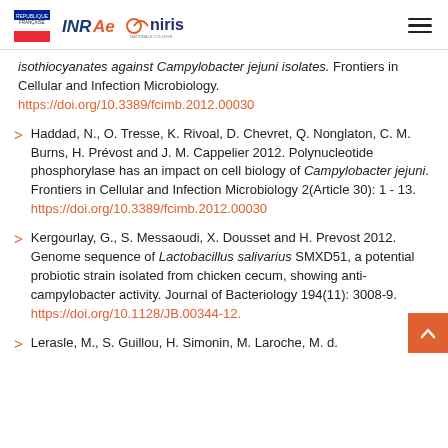REPUBLIQUE FRANÇAISE | INRAE | Oniris
isothiocyanates against Campylobacter jejuni isolates. Frontiers in Cellular and Infection Microbiology. https://doi.org/10.3389/fcimb.2012.00030
Haddad, N., O. Tresse, K. Rivoal, D. Chevret, Q. Nonglaton, C. M. Burns, H. Prévost and J. M. Cappelier 2012. Polynucleotide phosphorylase has an impact on cell biology of Campylobacter jejuni. Frontiers in Cellular and Infection Microbiology 2(Article 30): 1 - 13. https://doi.org/10.3389/fcimb.2012.00030
Kergourlay, G., S. Messaoudi, X. Dousset and H. Prevost 2012. Genome sequence of Lactobacillus salivarius SMXD51, a potential probiotic strain isolated from chicken cecum, showing anti-campylobacter activity. Journal of Bacteriology 194(11): 3008-9. https://doi.org/10.1128/JB.00344-12.
Lerasle, M., S. Guillou, H. Simonin, M. Laroche, M. d.